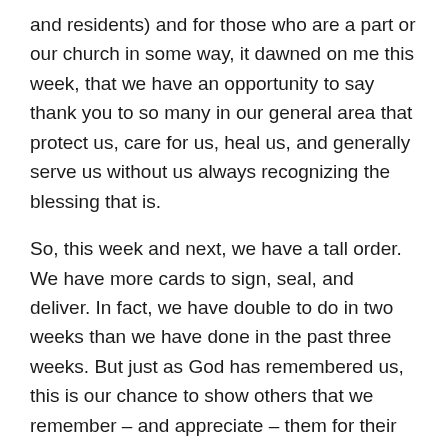and residents) and for those who are a part or our church in some way, it dawned on me this week, that we have an opportunity to say thank you to so many in our general area that protect us, care for us, heal us, and generally serve us without us always recognizing the blessing that is.
So, this week and next, we have a tall order. We have more cards to sign, seal, and deliver. In fact, we have double to do in two weeks than we have done in the past three weeks. But just as God has remembered us, this is our chance to show others that we remember – and appreciate – them for their service, as we prepare to celebrate the birth of the greatest Servant who ever lived.
Note: Title, Main Points, and some parts of the explanation are taken from Lifeway's Explore the Bible, "Ezekiel-Daniel", Winter 2022 Pastor Resources (relating the sermons to the SS lessons).